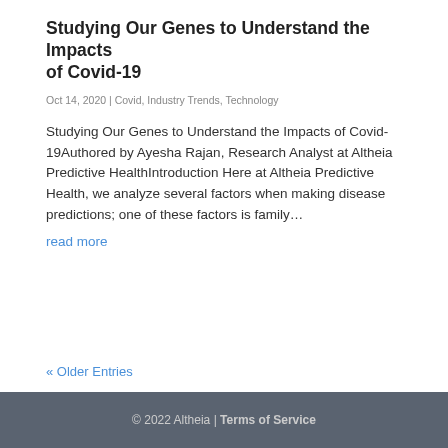Studying Our Genes to Understand the Impacts of Covid-19
Oct 14, 2020 | Covid, Industry Trends, Technology
Studying Our Genes to Understand the Impacts of Covid-19Authored by Ayesha Rajan, Research Analyst at Altheia Predictive HealthIntroduction Here at Altheia Predictive Health, we analyze several factors when making disease predictions; one of these factors is family…
read more
« Older Entries
© 2022 Altheia | Terms of Service